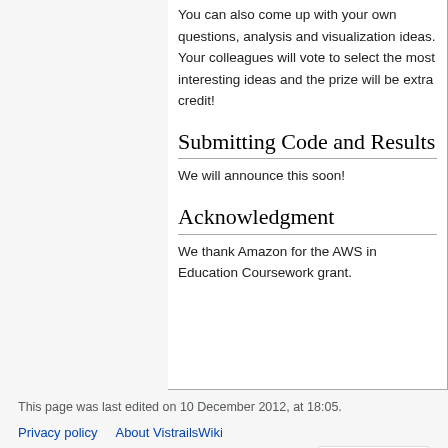You can also come up with your own questions, analysis and visualization ideas. Your colleagues will vote to select the most interesting ideas and the prize will be extra credit!
Submitting Code and Results
We will announce this soon!
Acknowledgment
We thank Amazon for the AWS in Education Coursework grant.
This page was last edited on 10 December 2012, at 18:05.
Privacy policy   About VistrailsWiki
Disclaimers